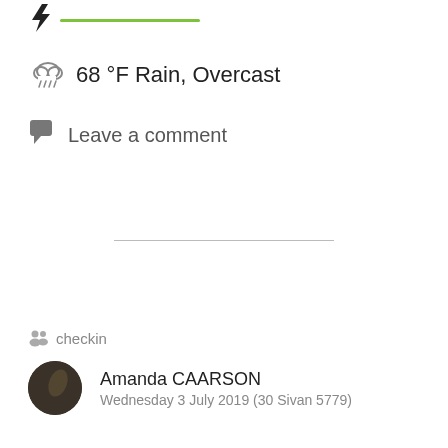[Figure (infographic): Top bar with a lightning bolt icon and a green horizontal line]
68 °F Rain, Overcast
Leave a comment
checkin
Amanda CAARSON
Wednesday 3 July 2019 (30 Sivan 5779)